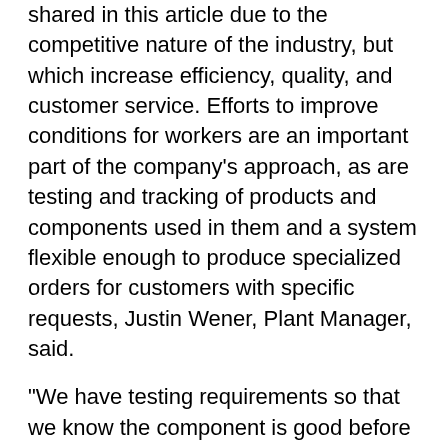shared in this article due to the competitive nature of the industry, but which increase efficiency, quality, and customer service. Efforts to improve conditions for workers are an important part of the company's approach, as are testing and tracking of products and components used in them and a system flexible enough to produce specialized orders for customers with specific requests, Justin Wener, Plant Manager, said.
“We have testing requirements so that we know the component is good before it gets into production. We have traceability, we have quality control, and we can design anything that you want.” Justin said.
Manufacturing for Wallingford’s is concentrated at